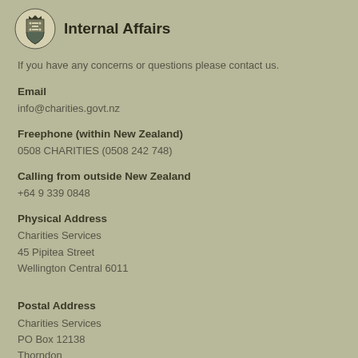[Figure (logo): New Zealand Department of Internal Affairs coat of arms logo with text 'Internal Affairs']
If you have any concerns or questions please contact us.
Email
info@charities.govt.nz
Freephone (within New Zealand)
0508 CHARITIES (0508 242 748)
Calling from outside New Zealand
+64 9 339 0848
Physical Address
Charities Services
45 Pipitea Street
Wellington Central 6011
Postal Address
Charities Services
PO Box 12138
Thorndon
Wellington Central
6144